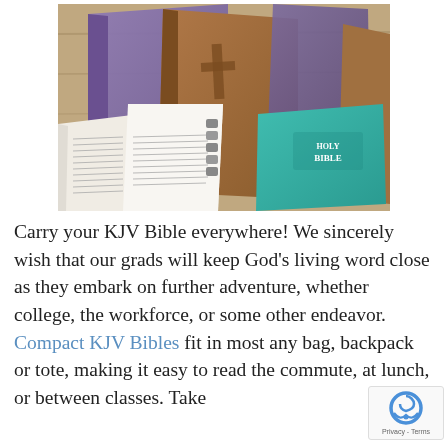[Figure (photo): A collection of KJV Bibles in various colors (purple, brown, teal) displayed on a wooden surface, including one open Bible showing text pages.]
Carry your KJV Bible everywhere! We sincerely wish that our grads will keep God's living word close as they embark on further adventure, whether college, the workforce, or some other endeavor. Compact KJV Bibles fit in most any bag, backpack or tote, making it easy to read the commute, at lunch, or between classes. Take